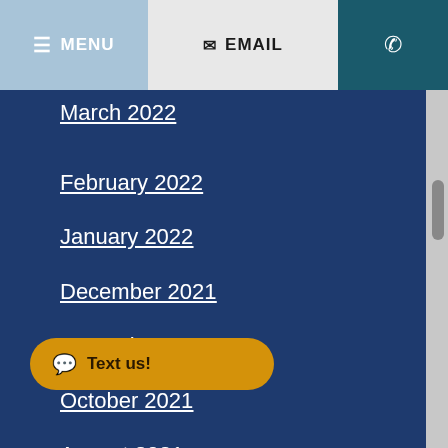≡ MENU   ✉ EMAIL   ☎
March 2022
February 2022
January 2022
December 2021
November 2021
October 2021
August 2021
June 2021
21
February 2021